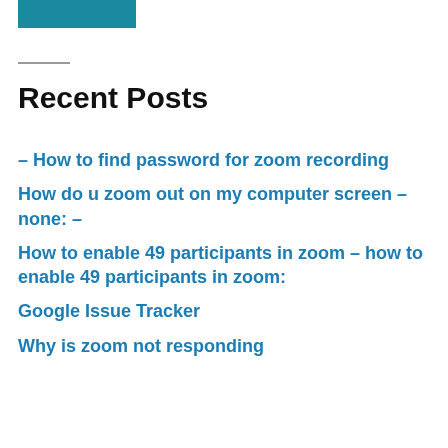[Figure (other): Teal/blue rectangle decorative element at top left]
Recent Posts
– How to find password for zoom recording
How do u zoom out on my computer screen – none: –
How to enable 49 participants in zoom – how to enable 49 participants in zoom:
Google Issue Tracker
Why is zoom not responding